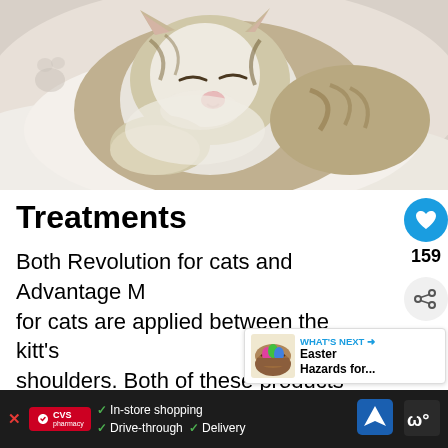[Figure (photo): Close-up photo of a sleeping tabby and white cat curled up on white bedding, eyes closed, pink nose visible]
Treatments
Both Revolution for cats and Advantage M for cats are applied between the kitt's shoulders. Both of these products co... drugs that are related to the old stand-by
[Figure (screenshot): WHAT'S NEXT promotional box showing Easter Hazards for... with a photo of Easter items]
[Figure (other): CVS Pharmacy advertisement bar with In-store shopping, Drive-through, and Delivery options, navigation icon, and Weatherbug icon]